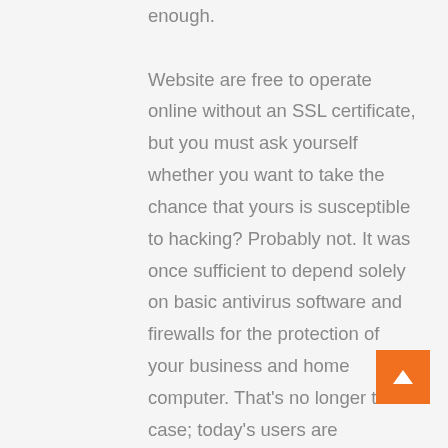enough.

Website are free to operate online without an SSL certificate, but you must ask yourself whether you want to take the chance that yours is susceptible to hacking? Probably not. It was once sufficient to depend solely on basic antivirus software and firewalls for the protection of your business and home computer. That's no longer the case; today's users are bombarded with malware. Securing customer trust and confidence should be up there with the most critical factors to consider for anyone operating a business online.
Consider the motivation behind any external party getting hold of your visitors data. Their intention won't be good; it's most likely their purpose is to manipulate the information or use it for identity